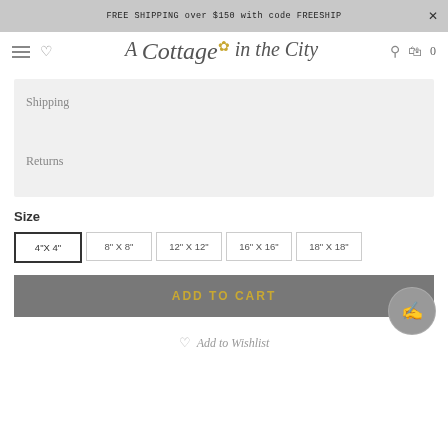FREE SHIPPING over $150 with code FREESHIP
[Figure (logo): A Cottage in the City logo with flower embellishment]
Shipping
Returns
Size
4"X 4"
8" X 8"
12" X 12"
16" X 16"
18" X 18"
ADD TO CART
Add to Wishlist